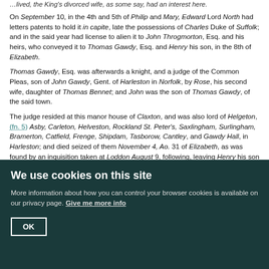…lived, the King's divorced wife, as some say, had an interest here.
On September 10, in the 4th and 5th of Philip and Mary, Edward Lord North had letters patents to hold it in capite, late the possessions of Charles Duke of Suffolk; and in the said year had license to alien it to John Throgmorton, Esq. and his heirs, who conveyed it to Thomas Gawdy, Esq. and Henry his son, in the 8th of Elizabeth.
Thomas Gawdy, Esq. was afterwards a knight, and a judge of the Common Pleas, son of John Gawdy, Gent. of Harleston in Norfolk, by Rose, his second wife, daughter of Thomas Bennet; and John was the son of Thomas Gawdy, of the said town.
The judge resided at this manor house of Claxton, and was also lord of Helgeton, (fn. 5) Asby, Carleton, Helveston, Rockland St. Peter's, Saxlingham, Surlingham, Bramerton, Catfield, Frenge, Shipdam, Tasborow, Cantley, and Gawdy Hall, in Harleston; and died seized of them November 4, Ao. 31 of Elizabeth, as was found by an inquisition taken at Loddon August 9, following, leaving Henry his son and heir by Etheldreda his first wife, daughter and coheir of William Knightley, Gent. of Norwich, aged 36 years; his second wife was Frances, daughter of - - - - Richers, of Kent.
We use cookies on this site
More information about how you can control your browser cookies is available on our privacy page. Give me more info